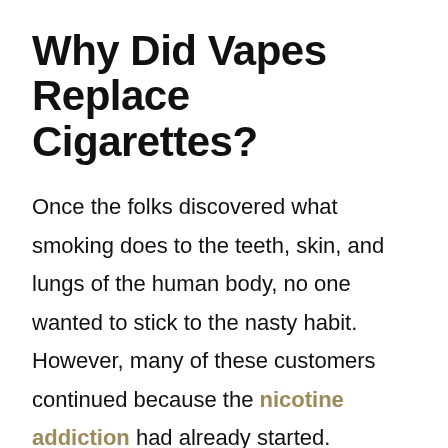Why Did Vapes Replace Cigarettes?
Once the folks discovered what smoking does to the teeth, skin, and lungs of the human body, no one wanted to stick to the nasty habit. However, many of these customers continued because the nicotine addiction had already started. Smoking cigarettes was considered stylish, and to remain in style and